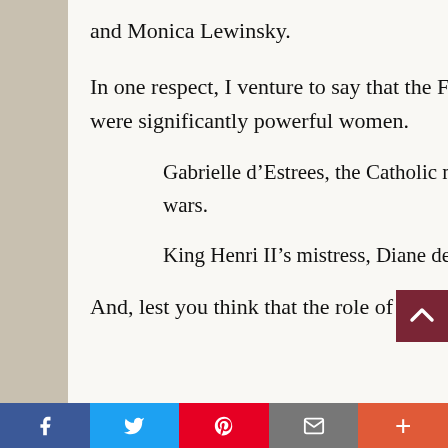and Monica Lewinsky.
In one respect, I venture to say that the French do take the cake.  A number of French shadow queens were significantly powerful women.
Gabrielle d’Estrees, the Catholic mistress of Protestant Henri IV, helped end France’s religious wars.
King Henri II’s mistress, Diane de Poitiers, imposed taxes, appointed ministers and made laws.
And, lest you think that the role of shadow queen